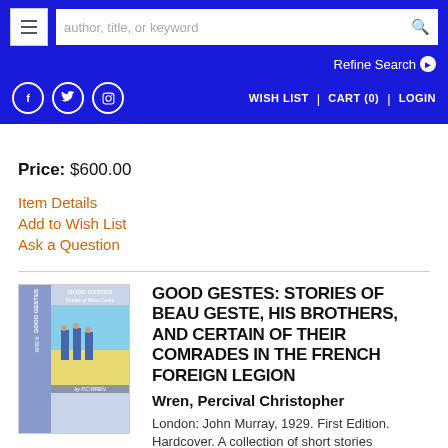author, title, or keyword | Refine Search | WISH LIST | CART (0) | LOGIN
Price: $600.00
Item Details
Add to Wish List
Ask a Question
[Figure (photo): Book cover of Good Gestes by P.C. Wren, showing soldiers in French Foreign Legion uniform]
GOOD GESTES: STORIES OF BEAU GESTE, HIS BROTHERS, AND CERTAIN OF THEIR COMRADES IN THE FRENCH FOREIGN LEGION
Wren, Percival Christopher
London: John Murray, 1929. First Edition. Hardcover. A collection of short stories